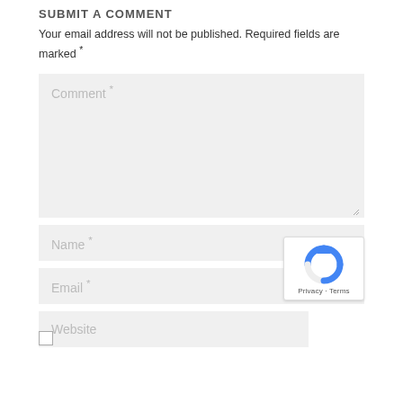SUBMIT A COMMENT
Your email address will not be published. Required fields are marked *
Comment *
Name *
Email *
Website